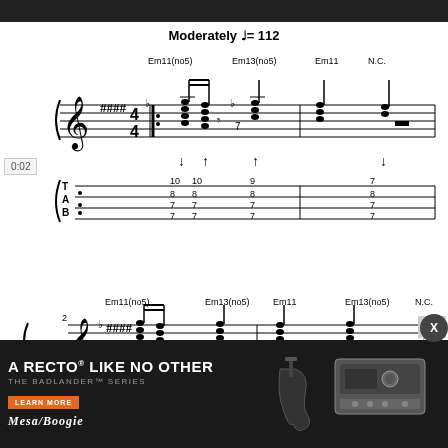Moderately ♩= 112
[Figure (illustration): Guitar tablature and music notation showing two measures. Top measure: Em11(no5), Em13(no5), Em11, N.C. chord labels. TAB numbers: 10-10, 8-8, 7-7, 7-7 / 9, 8, 7, 7 / 7, 8, 7, 7. Time signature 4/4 in key signature with sharps. Strumming arrows shown below staff. Second measure: Em11(no5), Em13(no5), Em11, Em13(no5), N.C. chord labels. TAB numbers: 10-10, 9, 7-7-9. Measure number 2 indicated.]
[Figure (advertisement): Mesa/Boogie Badlander Series amplifier advertisement. Black background. Text: A RECTO LIKE NO OTHER / THE BADLANDER SERIES / LEARN MORE button in orange / MESA/BOOGIE logo. Photo of guitar amplifier head unit.]